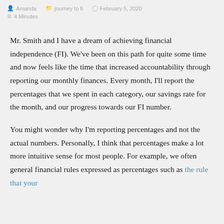Amanda · journey to fi · February 5, 2020 · 4 Minutes
Mr. Smith and I have a dream of achieving financial independence (FI). We've been on this path for quite some time and now feels like the time that increased accountability through reporting our monthly finances. Every month, I'll report the percentages that we spent in each category, our savings rate for the month, and our progress towards our FI number.
You might wonder why I'm reporting percentages and not the actual numbers. Personally, I think that percentages make a lot more intuitive sense for most people. For example, we often general financial rules expressed as percentages such as the rule that your